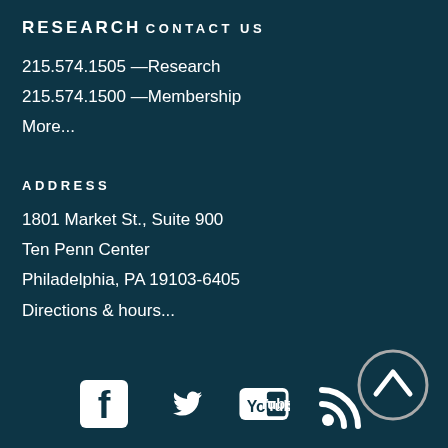RESEARCH
CONTACT US
215.574.1505 —Research
215.574.1500 —Membership
More...
ADDRESS
1801 Market St., Suite 900
Ten Penn Center
Philadelphia, PA 19103-6405
Directions & hours...
[Figure (other): Social media icons: Facebook, Twitter, YouTube, RSS feed, and an up-arrow navigation button]